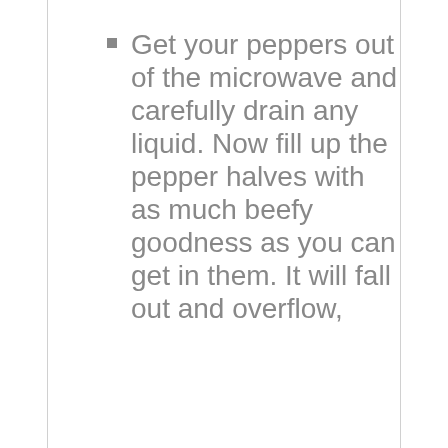Get your peppers out of the microwave and carefully drain any liquid. Now fill up the pepper halves with as much beefy goodness as you can get in them. It will fall out and overflow,